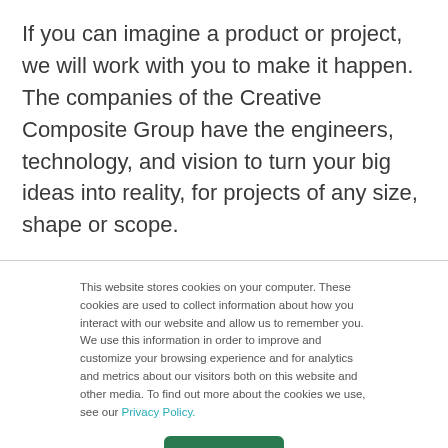If you can imagine a product or project, we will work with you to make it happen. The companies of the Creative Composite Group have the engineers, technology, and vision to turn your big ideas into reality, for projects of any size, shape or scope.
The Creative Composites Group consists of the U.S.-based composite companies within Hill and Smith Holdings PLC. Hill & Smith Holdings PLC is an
This website stores cookies on your computer. These cookies are used to collect information about how you interact with our website and allow us to remember you. We use this information in order to improve and customize your browsing experience and for analytics and metrics about our visitors both on this website and other media. To find out more about the cookies we use, see our Privacy Policy.